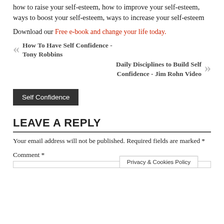how to raise your self-esteem, how to improve your self-esteem, ways to boost your self-esteem, ways to increase your self-esteem
Download our Free e-book and change your life today.
« How To Have Self Confidence - Tony Robbins
Daily Disciplines to Build Self Confidence - Jim Rohn Video »
Self Confidence
LEAVE A REPLY
Your email address will not be published. Required fields are marked *
Comment *
Privacy & Cookies Policy